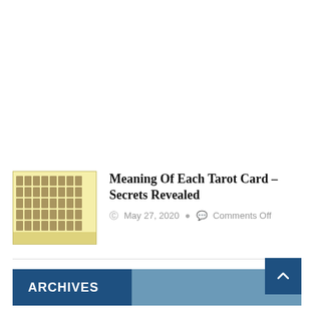[Figure (illustration): Thumbnail image of tarot card reference chart with grid of small tarot card illustrations on yellow background]
Meaning Of Each Tarot Card – Secrets Revealed
May 27, 2020   Comments Off
ARCHIVES
March 2022
February 2021